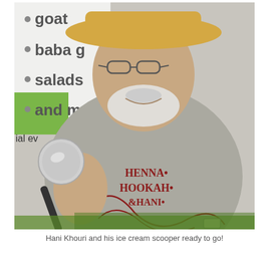[Figure (photo): A man wearing a straw hat and a grey t-shirt reading 'HENNA HOOKAH & HANI' holds up an ice cream scooper toward the camera. He has a white beard and glasses. In the background is a sign with bullet points listing: goat [cheese], baba g[anoush], salads, and m[ore]. Outdoor setting with green grass visible.]
Hani Khouri and his ice cream scooper ready to go!